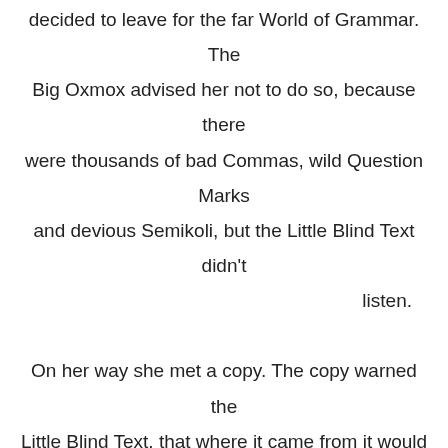decided to leave for the far World of Grammar. The Big Oxmox advised her not to do so, because there were thousands of bad Commas, wild Question Marks and devious Semikoli, but the Little Blind Text didn't listen. On her way she met a copy. The copy warned the Little Blind Text, that where it came from it would have been rewritten a thousand times and everything that was left from its origin would be the word “and” and the Little Blind Text should turn around and return to